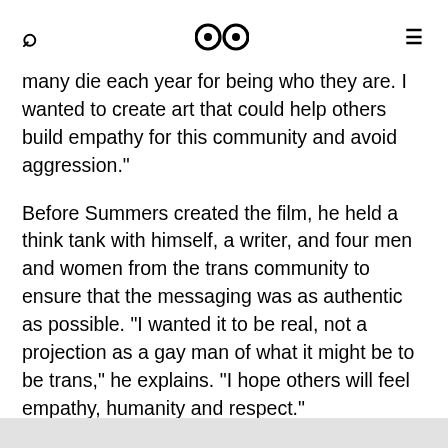🔍 👀 ≡
many die each year for being who they are. I wanted to create art that could help others build empathy for this community and avoid aggression."
Before Summers created the film, he held a think tank with himself, a writer, and four men and women from the trans community to ensure that the messaging was as authentic as possible. "I wanted it to be real, not a projection as a gay man of what it might be to be trans," he explains. "I hope others will feel empathy, humanity and respect."